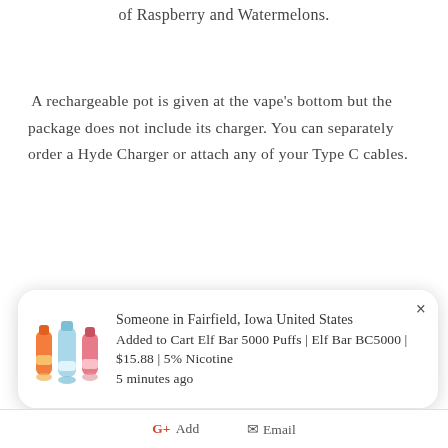of Raspberry and Watermelons.
A rechargeable pot is given at the vape's bottom but the package does not include its charger. You can separately order a Hyde Charger or attach any of your Type C cables.
PRE-ORDER ITEMS COMING SOON!
Someone in Fairfield, Iowa United States
Added to Cart Elf Bar 5000 Puffs | Elf Bar BC5000 | $15.88 | 5% Nicotine
5 minutes ago
G+ Add   Email